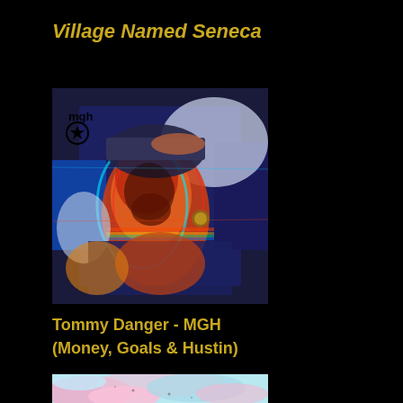Village Named Seneca
[Figure (illustration): Album cover art for Tommy Danger - MGH (Money, Goals & Hustin). A psychedelic, glitch-art style portrait of a person with colorful distorted imagery in blue, orange, red, and white tones. MGH logo with star visible in upper left corner.]
Tommy Danger - MGH
(Money, Goals & Hustin)
[Figure (illustration): Partial view of another album cover showing abstract pastel swirls in pink, light blue, and white.]